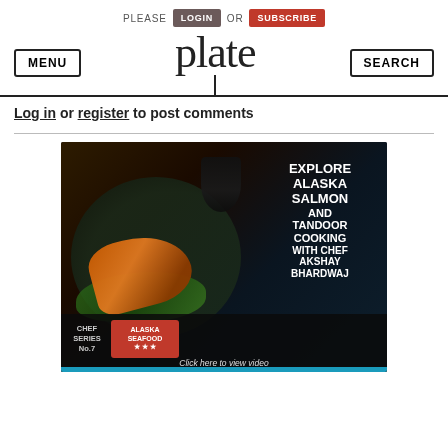PLEASE LOGIN OR SUBSCRIBE
MENU  plate  SEARCH
Log in or register to post comments
[Figure (photo): Advertisement for Alaska Seafood featuring tandoor-cooked salmon in a dark bowl with greens, text reading 'EXPLORE ALASKA SALMON AND TANDOOR COOKING WITH CHEF AKSHAY BHARDWAJ', Chef Series No.7, Alaska Seafood logo, and 'Click here to view video']